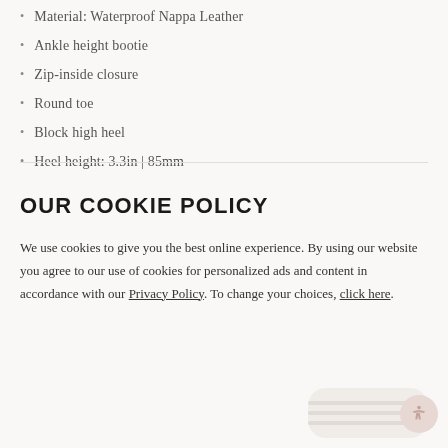Material: Waterproof Nappa Leather
Ankle height bootie
Zip-inside closure
Round toe
Block high heel
Heel height: 3.3in | 85mm
SKU: B3531500110001
OUR COOKIE POLICY
We use cookies to give you the best online experience. By using our website you agree to our use of cookies for personalized ads and content in accordance with our Privacy Policy. To change your choices, click here.